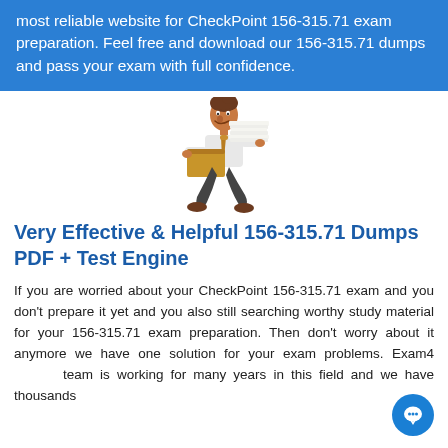most reliable website for CheckPoint 156-315.71 exam preparation. Feel free and download our 156-315.71 dumps and pass your exam with full confidence.
[Figure (illustration): Cartoon illustration of a businessman running while carrying a large stack of papers and a cardboard box]
Very Effective & Helpful 156-315.71 Dumps PDF + Test Engine
If you are worried about your CheckPoint 156-315.71 exam and you don't prepare it yet and you also still searching worthy study material for your 156-315.71 exam preparation. Then don't worry about it anymore we have one solution for your exam problems. Exam4 team is working for many years in this field and we have thousands